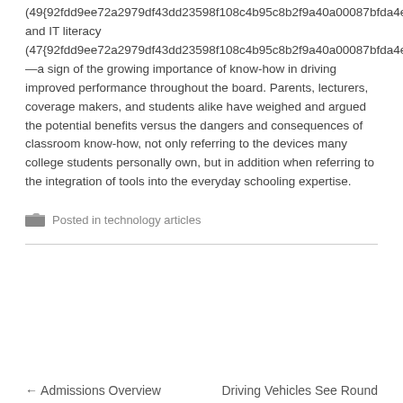(49{92fdd9ee72a2979df43dd23598f108c4b95c8b2f9a40a00087bfda4ebedae515}) and IT literacy (47{92fdd9ee72a2979df43dd23598f108c4b95c8b2f9a40a00087bfda4ebedae515})—a sign of the growing importance of know-how in driving improved performance throughout the board. Parents, lecturers, coverage makers, and students alike have weighed and argued the potential benefits versus the dangers and consequences of classroom know-how, not only referring to the devices many college students personally own, but in addition when referring to the integration of tools into the everyday schooling expertise.
Posted in technology articles
← Admissions Overview    Driving Vehicles See Round